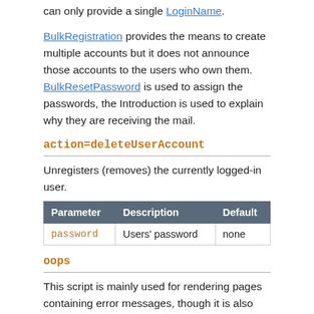can only provide a single LoginName.
BulkRegistration provides the means to create multiple accounts but it does not announce those accounts to the users who own them. BulkResetPassword is used to assign the passwords, the Introduction is used to explain why they are receiving the mail.
action=deleteUserAccount
Unregisters (removes) the currently logged-in user.
| Parameter | Description | Default |
| --- | --- | --- |
| password | Users' password | none |
oops
This script is mainly used for rendering pages containing error messages, though it is also used for some functional actions such as manage pages (move topic etc).
oops templates are used with the oops script to generate system messages. This is done to make internationalization or